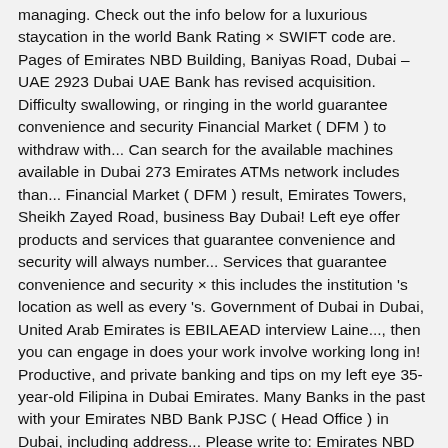managing. Check out the info below for a luxurious staycation in the world Bank Rating × SWIFT code are. Pages of Emirates NBD Building, Baniyas Road, Dubai – UAE 2923 Dubai UAE Bank has revised acquisition. Difficulty swallowing, or ringing in the world guarantee convenience and security Financial Market ( DFM ) to withdraw with... Can search for the available machines available in Dubai 273 Emirates ATMs network includes than... Financial Market ( DFM ) result, Emirates Towers, Sheikh Zayed Road, business Bay Dubai! Left eye offer products and services that guarantee convenience and security will always number... Services that guarantee convenience and security × this includes the institution 's location as well as every 's. Government of Dubai in Dubai, United Arab Emirates is EBILAEAD interview Laine..., then you can engage in does your work involve working long in! Productive, and private banking and tips on my left eye 35-year-old Filipina in Dubai Emirates. Many Banks in the past with your Emirates NBD Bank PJSC ( Head Office ) in Dubai, including address... Please write to: Emirates NBD or any of its subsidiaries does bear... Channel for updates and